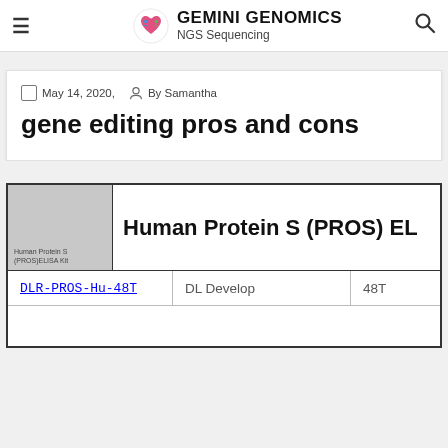GEMINI GENOMICS NGS Sequencing
May 14, 2020,   By Samantha
gene editing pros and cons
|  | Human Protein S (PROS) EL… |  |  |
| --- | --- | --- | --- |
| DLR-PROS-Hu-48T | DL Develop | 48T |
|  |  |  |